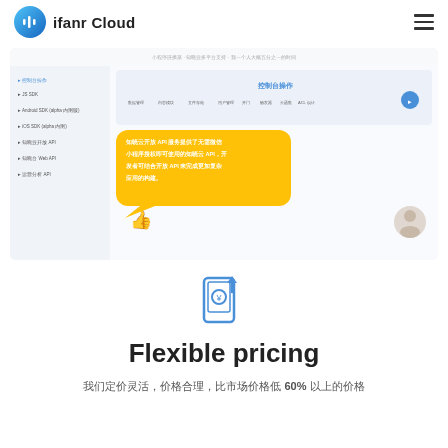ifanr Cloud
[Figure (screenshot): ifanr Cloud product screenshot showing a documentation/API page with a sidebar navigation (including items like JS SDK, Android SDK, iOS SDK, etc.), a main content area with '控制台操作' heading and navigation tabs, and a yellow speech bubble overlay with Chinese text about 知晓云开放 API 服务提供了无需微信小程序授权即可使用的知晓云 API，开发者可结合开放 API 来完成更加复杂应用的构建。, plus a thumbs-up icon and a user avatar.]
[Figure (illustration): A blue outline icon of a mobile phone with a yen/yuan coin symbol and an upward arrow, representing flexible pricing.]
Flexible pricing
我们定价灵活，价格合理，比市场价格低 60% 以上的价格